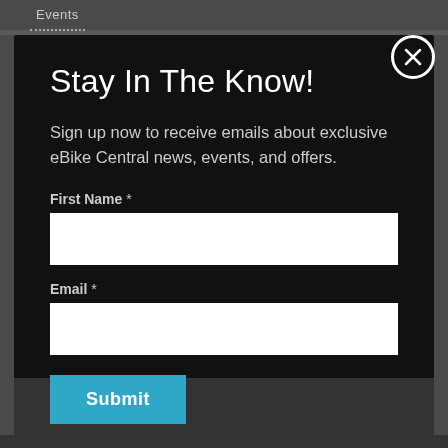Events
Stay In The Know!
Sign up now to receive emails about exclusive eBike Central news, events, and offers.
First Name *
Email *
Submit